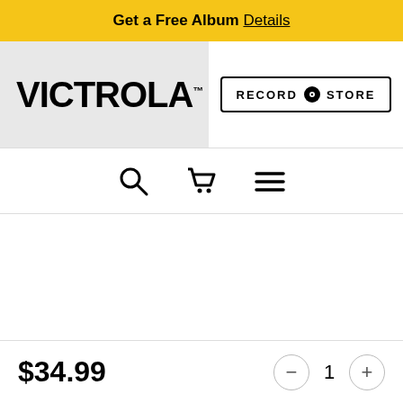Get a Free Album Details
[Figure (logo): Victrola logo in bold black uppercase text on grey background]
[Figure (illustration): Record Store button with vinyl record dot icon, bordered rectangle]
[Figure (infographic): Navigation icons: search magnifier, shopping cart, hamburger menu]
$34.99
1
Add to Cart